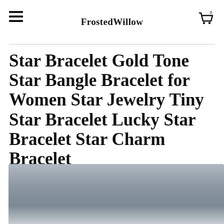FrostedWillow
Star Bracelet Gold Tone Star Bangle Bracelet for Women Star Jewelry Tiny Star Bracelet Lucky Star Bracelet Star Charm Bracelet
[Figure (photo): Product photo of a star bracelet, showing a close-up of jewelry against a grey/silver background]